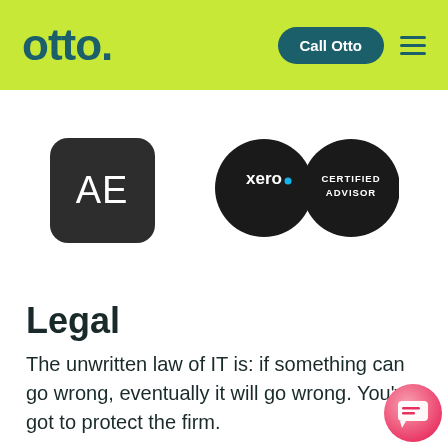otto. | Call Otto
[Figure (logo): AE logo — dark rounded square with white letters AE]
[Figure (logo): Xero Certified Advisor logo — two dark circles, left circle has xero text with dot, right circle has CERTIFIED ADVISOR text]
Legal
The unwritten law of IT is: if something can go wrong, eventually it will go wrong. You've got to protect the firm.